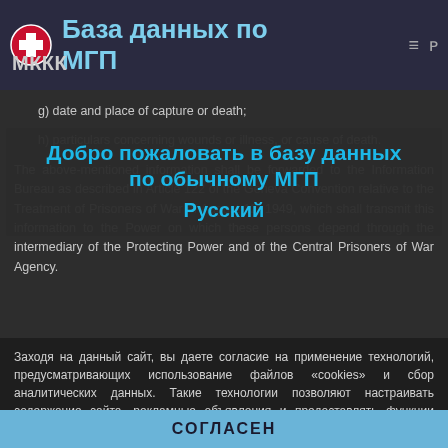База данных по МГП | МККК
g) date and place of capture or death;
h) particulars concerning wounds or illness, or cause of death.
The above-mentioned information shall be forwarded to the Information Bureau as described in Article 122 of the Geneva Convention relative to the Treatment of Prisoners of War of August 12, 1949, which shall transmit this information to the Power on which these persons depend through the intermediary of the Protecting Power and of the Central Prisoners of War Agency.
Добро пожаловать в базу данных по обычному МГП
Русский
Заходя на данный сайт, вы даете согласие на применение технологий, предусматривающих использование файлов «cookies» и сбор аналитических данных. Такие технологии позволяют настраивать содержание сайта, рекламные объявления и предоставлять функции социальных сетей. Они будут использоваться для анализа посещений сайта, что позволит нам понять предпочтения посетителей и улучшить предоставляемые услуги. Узнать больше
СОГЛАСЕН